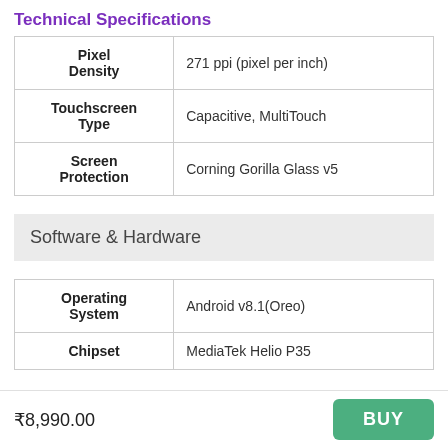Technical Specifications
| Spec | Value |
| --- | --- |
| Pixel Density | 271 ppi (pixel per inch) |
| Touchscreen Type | Capacitive, MultiTouch |
| Screen Protection | Corning Gorilla Glass v5 |
Software & Hardware
| Spec | Value |
| --- | --- |
| Operating System | Android v8.1(Oreo) |
| Chipset | MediaTek Helio P35 |
₹8,990.00
BUY